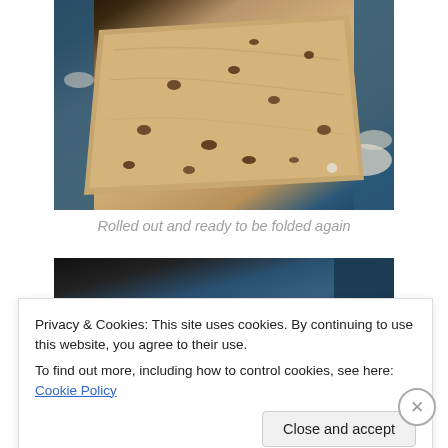[Figure (photo): Rolled out dough with visible chocolate chips or raisins on a floured blue surface, viewed from above at an angle]
Rolled out and ready to be folded again
[Figure (photo): Partially visible photo of dough being worked on a blue surface, obscured by cookie consent banner]
Privacy & Cookies: This site uses cookies. By continuing to use this website, you agree to their use.
To find out more, including how to control cookies, see here: Cookie Policy
Close and accept